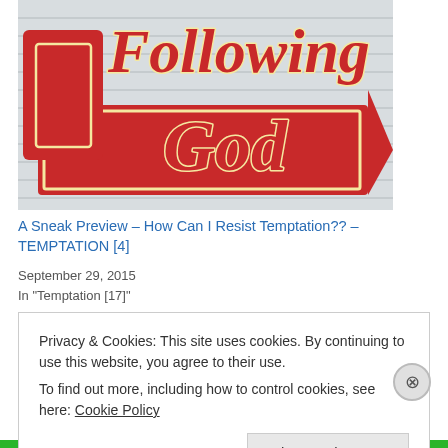[Figure (illustration): A retro-style marquee sign with red arrow and bold italic red text reading 'Following God' on a striped background.]
A Sneak Preview – How Can I Resist Temptation?? – TEMPTATION [4]
September 29, 2015
In "Temptation [17]"
Privacy & Cookies: This site uses cookies. By continuing to use this website, you agree to their use.
To find out more, including how to control cookies, see here: Cookie Policy
Close and accept